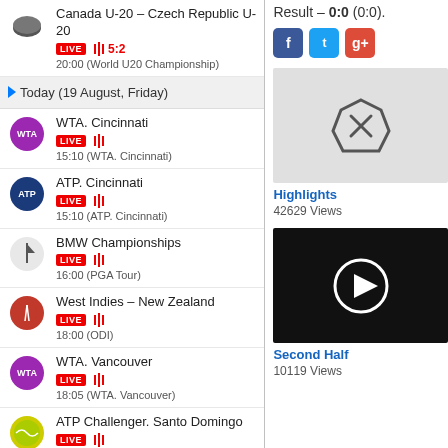Canada U-20 – Czech Republic U-20 LIVE 5:2 20:00 (World U20 Championship)
Today (19 August, Friday)
WTA. Cincinnati LIVE 15:10 (WTA. Cincinnati)
ATP. Cincinnati LIVE 15:10 (ATP. Cincinnati)
BMW Championships LIVE 16:00 (PGA Tour)
West Indies – New Zealand LIVE 18:00 (ODI)
WTA. Vancouver LIVE 18:05 (WTA. Vancouver)
ATP Challenger. Santo Domingo LIVE 18:10 (ATP Challenger. Santo Domingo)
Summer Showdown Qualifiers LIVE 18:15 (Overwatch)
Stefanos Tsitsipas – John Isner LIVE 2:1 19:10 (ATP. Cincinnati)
Aryna Sabalenka (W) – Shuai Zhang (W)
Result – 0:0 (0:0).
[Figure (screenshot): Video thumbnail with X/blocked icon, grayed out]
Highlights
42629 Views
[Figure (screenshot): Video thumbnail dark with play button]
Second Half
10119 Views